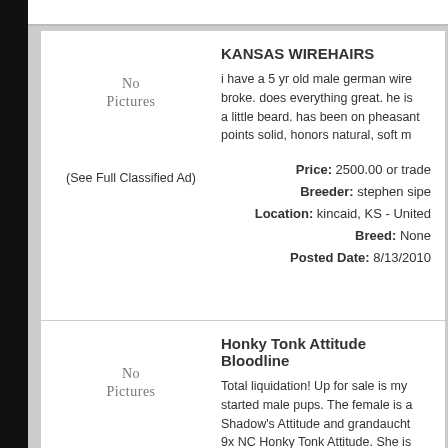KANSAS WIREHAIRS
i have a 5 yr old male german wire broke. does everything great. he is a little beard. has been on pheasant points solid, honors natural, soft m
[Figure (other): No Pictures placeholder]
(See Full Classified Ad)
Price: 2500.00 or trade
Breeder: stephen sipe
Location: kincaid, KS - United
Breed: None
Posted Date: 8/13/2010
Honky Tonk Attitude Bloodline
Total liquidation! Up for sale is my started male pups. The female is a Shadow's Attitude and grandaucht 9x NC Honky Tonk Attitude. She is
[Figure (other): No Pictures placeholder]
(See Full Classified Ad)
Price: 3200
Breeder: Daniel Williams
Location: Clarksburg, MO - U
Breed: None
Posted Date: 8/13/2010